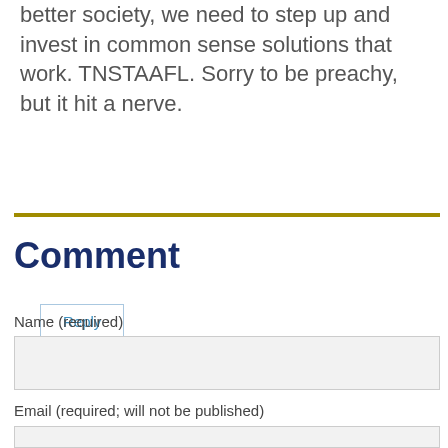better society, we need to step up and invest in common sense solutions that work. TNSTAAFL. Sorry to be preachy, but it hit a nerve.
Reply
Comment
Name (required)
Email (required; will not be published)